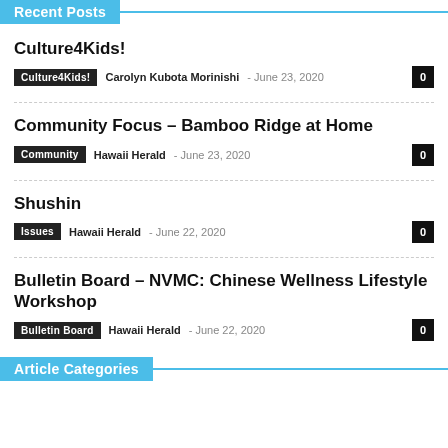Recent Posts
Culture4Kids!
Culture4Kids! Carolyn Kubota Morinishi - June 23, 2020 0
Community Focus – Bamboo Ridge at Home
Community Hawaii Herald - June 23, 2020 0
Shushin
Issues Hawaii Herald - June 22, 2020 0
Bulletin Board – NVMC: Chinese Wellness Lifestyle Workshop
Bulletin Board Hawaii Herald - June 22, 2020 0
Article Categories